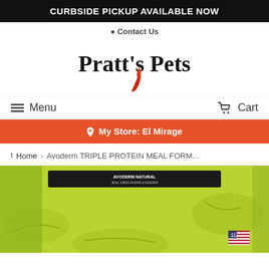CURBSIDE PICKUP AVAILABLE NOW
Contact Us
Pratt's Pets
Menu   Cart
My Store: El Mirage
Home › Avoderm TRIPLE PROTEIN MEAL FORM...
[Figure (photo): Product photo of Avoderm Triple Protein Meal Formula pet food bag in green packaging with leaf design and small US flag in bottom right corner]